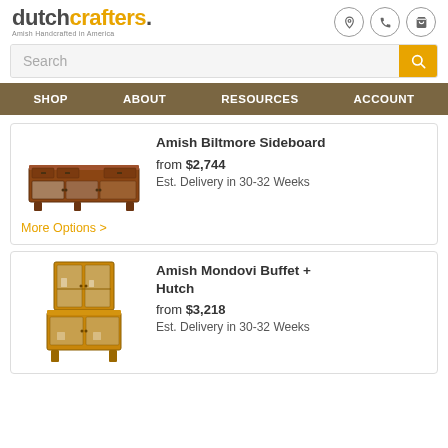[Figure (logo): DutchCrafters logo with text 'dutch' in dark gray and 'crafters.' in gold/orange, tagline 'Amish Handcrafted in America']
Search
SHOP   ABOUT   RESOURCES   ACCOUNT
Amish Biltmore Sideboard
from $2,744
Est. Delivery in 30-32 Weeks
More Options >
Amish Mondovi Buffet + Hutch
from $3,218
Est. Delivery in 30-32 Weeks